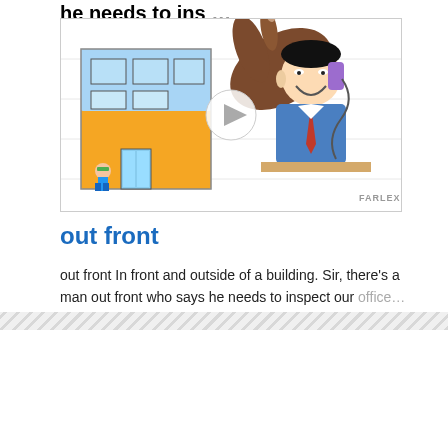[Figure (screenshot): A video thumbnail showing a cartoon illustration of a building with a small person standing out front, and a cartoon businessman talking on the phone at a desk. A hand is pointing at the scene. A play button is overlaid in the center. The text 'he needs to ins' is visible at the top (partially cut off). A 'FARLEX' watermark appears in the bottom right.]
out front
out frontIn front and outside of a building.Sir, there's a man out front who says he needs to inspect our office. We'll put our job sliding terms out front after...